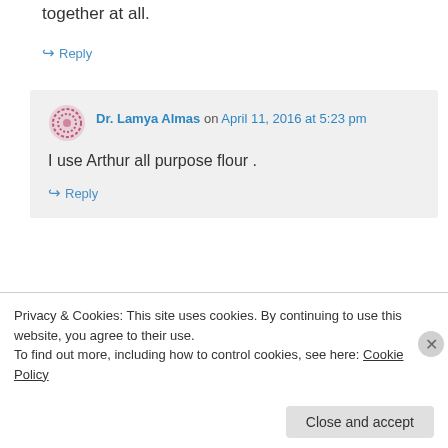together at all.
↪ Reply
Dr. Lamya Almas on April 11, 2016 at 5:23 pm
I use Arthur all purpose flour .
↪ Reply
Sameria Ali on March 22, 2016 at 4:22 pm
Privacy & Cookies: This site uses cookies. By continuing to use this website, you agree to their use.
To find out more, including how to control cookies, see here: Cookie Policy
Close and accept